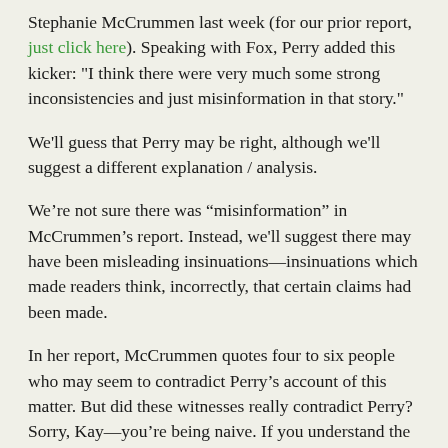Stephanie McCrummen last week (for our prior report, just click here). Speaking with Fox, Perry added this kicker: "I think there were very much some strong inconsistencies and just misinformation in that story."
We'll guess that Perry may be right, although we'll suggest a different explanation / analysis.
We're not sure there was “misinformation” in McCrummen’s report. Instead, we'll suggest there may have been misleading insinuations—insinuations which made readers think, incorrectly, that certain claims had been made.
In her report, McCrummen quotes four to six people who may seem to contradict Perry’s account of this matter. But did these witnesses really contradict Perry? Sorry, Kay—you’re being naive. If you understand the way “journalists” work, it just isn’t clear that they did.
Let’s be clear. We don’t know what these witnesses actually said to McCrummen. Some of them may have contradicted Perry’s account in specific ways—though we’d have to say this isn’t clear